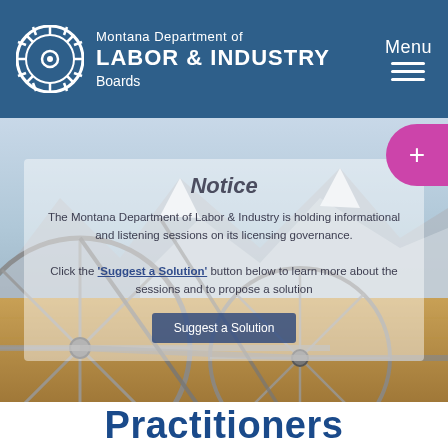Montana Department of LABOR & INDUSTRY Boards
[Figure (screenshot): Hero image of agricultural irrigation wheel lines in a field with mountains and snow-capped peaks in the background, overlaid with a semi-transparent notice box.]
Notice
The Montana Department of Labor & Industry is holding informational and listening sessions on its licensing governance.

Click the 'Suggest a Solution' button below to learn more about the sessions and to propose a solution
Suggest a Solution
Practitioners